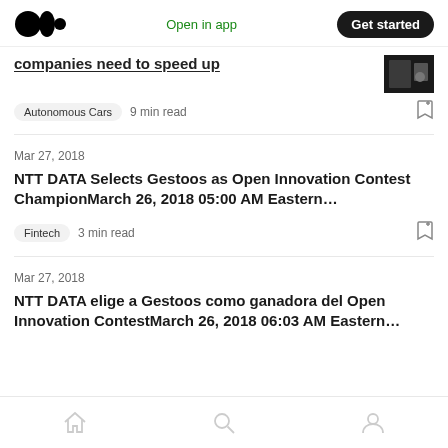Medium — Open in app — Get started
companies need to speed up
Autonomous Cars  9 min read
Mar 27, 2018
NTT DATA Selects Gestoos as Open Innovation Contest ChampionMarch 26, 2018 05:00 AM Eastern...
Fintech  3 min read
Mar 27, 2018
NTT DATA elige a Gestoos como ganadora del Open Innovation ContestMarch 26, 2018 06:03 AM Eastern...
Home · Search · Profile